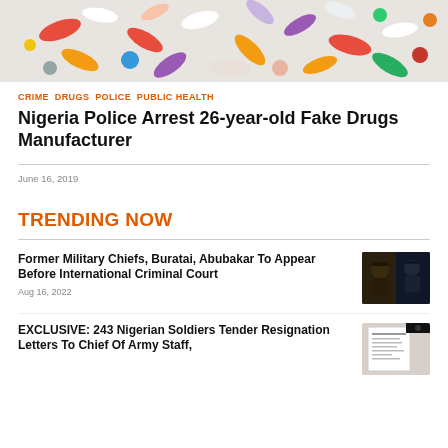[Figure (photo): Overhead photo of assorted colorful pills and capsules on a white background]
CRIME  DRUGS  POLICE  PUBLIC HEALTH
Nigeria Police Arrest 26-year-old Fake Drugs Manufacturer
June 16, 2019
TRENDING NOW
Former Military Chiefs, Buratai, Abubakar To Appear Before International Criminal Court
Aug 16, 2022
EXCLUSIVE: 243 Nigerian Soldiers Tender Resignation Letters To Chief Of Army Staff,